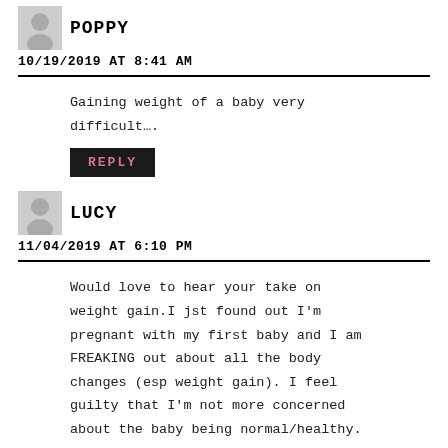POPPY
10/19/2019 AT 8:41 AM
Gaining weight of a baby very difficult….
REPLY
LUCY
11/04/2019 AT 6:10 PM
Would love to hear your take on weight gain.I jst found out I'm pregnant with my first baby and I am FREAKING out about all the body changes (esp weight gain). I feel guilty that I'm not more concerned about the baby being normal/healthy.